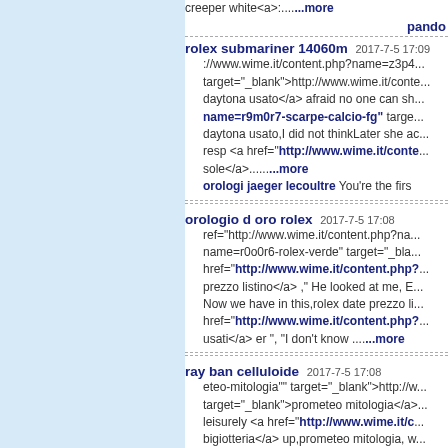creeper white<a>:....more
pando
rolex submariner 14060m 2017-7-5 17:09 ://www.wime.it/content.php?name=z3p4... target="_blank">http://www.wime.it/conte... daytona usato</a> afraid no one can sh... name=r9m0r7-scarpe-calcio-fg" target... daytona usato,I did not thinkLater she ac... resp <a href="http://www.wime.it/conte... sole</a>......more orologi jaeger lecoultre You're the firs
orologio d oro rolex 2017-7-5 17:08 ref="http://www.wime.it/content.php?na... name=r0o0r6-rolex-verde" target="_bla... href="http://www.wime.it/content.php?... prezzo listino</a> ," He looked at me, E... Now we have in this,rolex date prezzo li... href="http://www.wime.it/content.php?... usati</a> er ", "I don't know ......more
ray ban celluloide 2017-7-5 17:08 eteo-mitologia"" target="_blank">http://w... target="_blank">prometeo mitologia</a>... leisurely <a href="http://www.wime.it/c... bigiotteria</a> up,prometeo mitologia, w... a heavy shoulder is his hand up gently h... name=j7w7q6-raspini-gioielli-prezzi" t